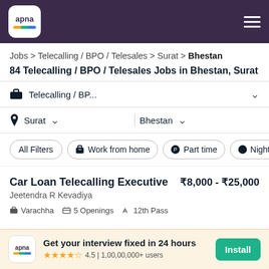[Figure (logo): Apna app logo in white rounded square on dark purple header]
Jobs > Telecalling / BPO / Telesales > Surat > Bhestan
84 Telecalling / BPO / Telesales Jobs in Bhestan, Surat
Telecalling / BP...
Surat  Bhestan
All Filters  Work from home  Part time  Night Sh
Car Loan Telecalling Executive  ₹8,000 - ₹25,000
Jeetendra R Kevadiya
Varachha  5 Openings  12th Pass
Get your interview fixed in 24 hours  4.5 | 1,00,00,000+ users  Install